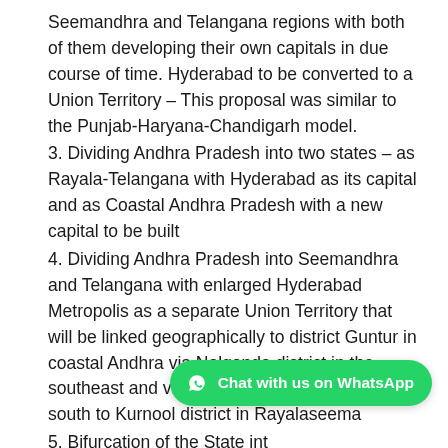Seemandhra and Telangana regions with both of them developing their own capitals in due course of time. Hyderabad to be converted to a Union Territory – This proposal was similar to the Punjab-Haryana-Chandigarh model.
3. Dividing Andhra Pradesh into two states – as Rayala-Telangana with Hyderabad as its capi­tal and as Coastal Andhra Pradesh with a new capital to be built
4. Dividing Andhra Pradesh into Seemandhra and Telangana with enlarged Hyderabad Metropolis as a separate Union Territory that will be linked geographically to district Guntur in coastal Andhra via Nalgonda district in the southeast and via Mahabubnagar district in the south to Kurnool district in Rayalaseema
5. Bifurcation of the State int... Seemandhra as per existing boundaries with Hyderabad